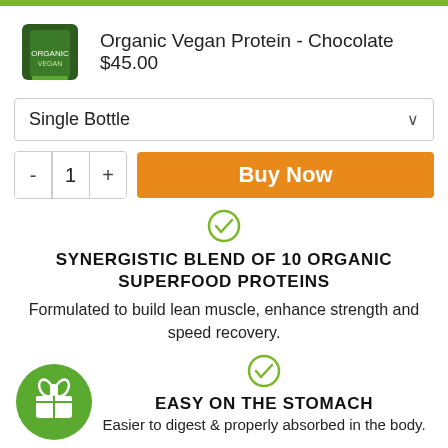Organic Vegan Protein - Chocolate
$45.00
Single Bottle
- 1 + Buy Now
[Figure (illustration): Green circle checkmark icon]
SYNERGISTIC BLEND OF 10 ORGANIC SUPERFOOD PROTEINS
Formulated to build lean muscle, enhance strength and speed recovery.
[Figure (illustration): Green circle with gift/bow icon]
[Figure (illustration): Green circle checkmark icon]
EASY ON THE STOMACH
Easier to digest & properly absorbed in the body.